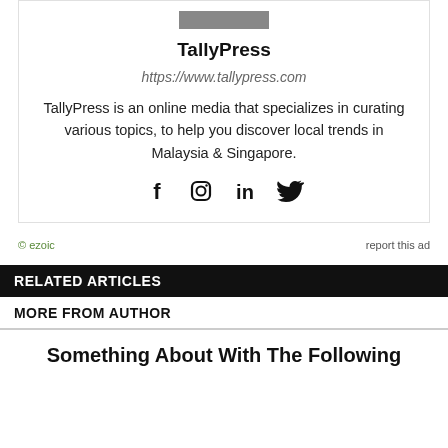[Figure (other): Author avatar placeholder bar (gray rectangle)]
TallyPress
https://www.tallypress.com
TallyPress is an online media that specializes in curating various topics, to help you discover local trends in Malaysia & Singapore.
[Figure (other): Social media icons: Facebook, Instagram, LinkedIn, Twitter]
© ezoic   report this ad
RELATED ARTICLES
MORE FROM AUTHOR
Something About With The Following